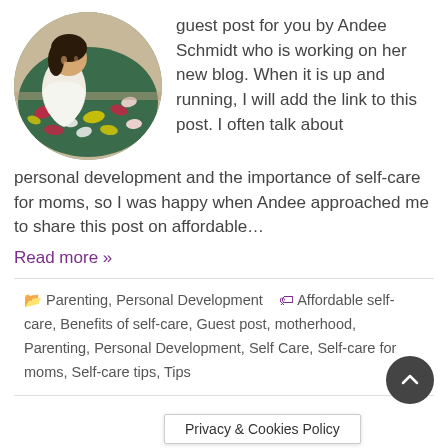[Figure (photo): Circular profile photo of a woman in a white robe sitting near a pool decorated with colorful flower petals]
guest post for you by Andee Schmidt who is working on her new blog. When it is up and running, I will add the link to this post. I often talk about personal development and the importance of self-care for moms, so I was happy when Andee approached me to share this post on affordable…
Read more »
Parenting, Personal Development  Affordable self-care, Benefits of self-care, Guest post, motherhood, Parenting, Personal Development, Self Care, Self-care for moms, Self-care tips, Tips
Privacy & Cookies Policy